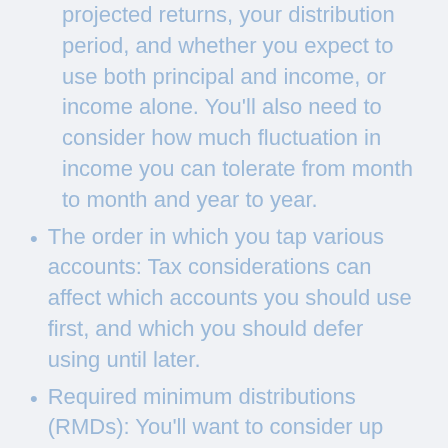projected returns, your distribution period, and whether you expect to use both principal and income, or income alone. You'll also need to consider how much fluctuation in income you can tolerate from month to month and year to year.
The order in which you tap various accounts: Tax considerations can affect which accounts you should use first, and which you should defer using until later.
Required minimum distributions (RMDs): You'll want to consider up front how you'll deal with required withdrawals from tax-advantaged accounts like 401(k)s and traditional IRAs, and other